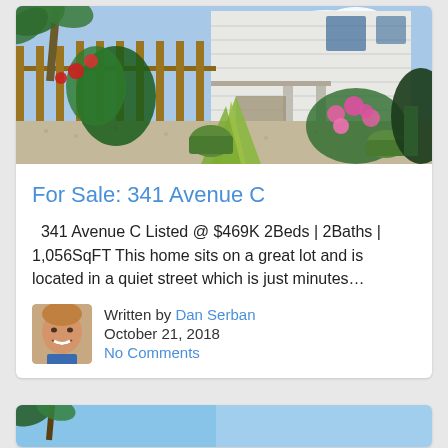[Figure (photo): Exterior photo of a two-story white house with tropical garden, gravel yard, potted plants and pink flowers in front]
For Sale: 341 Avenue C
341 Avenue C Listed @ $469K 2Beds | 2Baths | 1,056SqFT This home sits on a great lot and is located in a quiet street which is just minutes…
[Figure (photo): Portrait photo of author Dan Serban, a man with light brown hair smiling]
Written by Dan Serban
October 21, 2018
No Comments
[Figure (photo): Partial view of second property listing card at bottom of page]